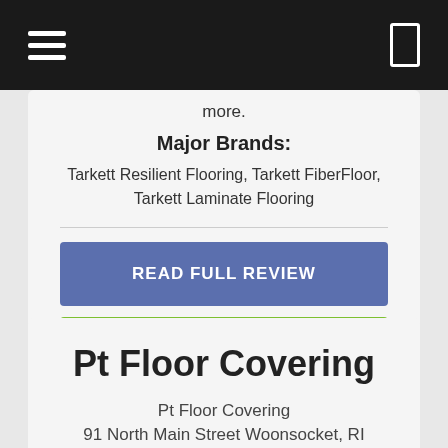Navigation bar with hamburger menu and icon
more.
Major Brands:
Tarkett Resilient Flooring, Tarkett FiberFloor, Tarkett Laminate Flooring
READ FULL REVIEW
REPORT PROBLEM
Pt Floor Covering
Pt Floor Covering
91 North Main Street Woonsocket, RI 02895